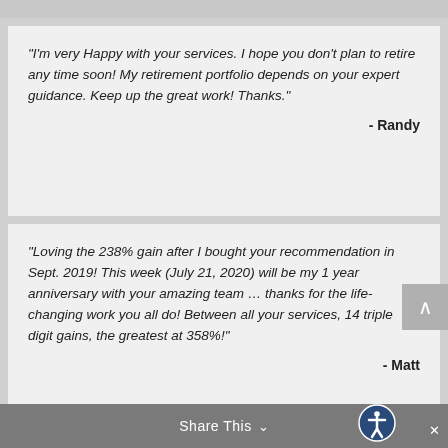“I’m very Happy with your services. I hope you don’t plan to retire any time soon! My retirement portfolio depends on your expert guidance. Keep up the great work! Thanks.”
- Randy
“Loving the 238% gain after I bought your recommendation in Sept. 2019! This week (July 21, 2020) will be my 1 year anniversary with your amazing team … thanks for the life-changing work you all do! Between all your services, 14 triple digit gains, the greatest at 358%!”
- Matt
Share This